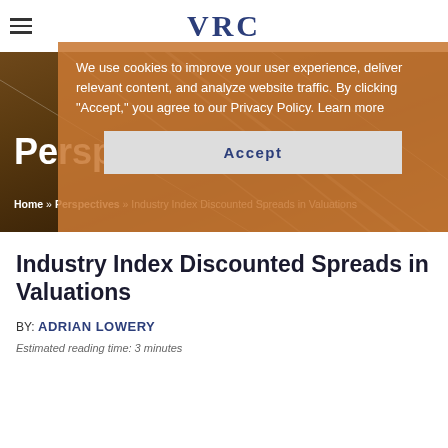VRC
[Figure (screenshot): VRC website screenshot showing Perspectives hero banner with industrial/cable background image, navigation hamburger menu, VRC logo, Perspectives heading, and breadcrumb navigation. A cookie consent overlay is displayed over the hero area with text about cookies and an Accept button.]
We use cookies to improve your user experience, deliver relevant content, and analyze website traffic. By clicking "Accept," you agree to our Privacy Policy. Learn more
Accept
Perspectives
Home » Perspectives » Industry Index Discounted Spreads in Valuations
Industry Index Discounted Spreads in Valuations
BY: ADRIAN LOWERY
Estimated reading time: 3 minutes